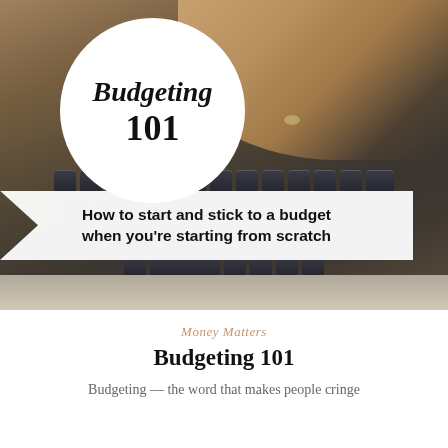[Figure (photo): Photo of hands typing on a laptop keyboard, with a white circle overlay containing the text 'Budgeting 101' and a white banner ribbon reading 'How to start and stick to a budget when you're starting from scratch']
Budgeting 101
Money Matters
Budgeting 101
Budgeting — the word that makes people cringe